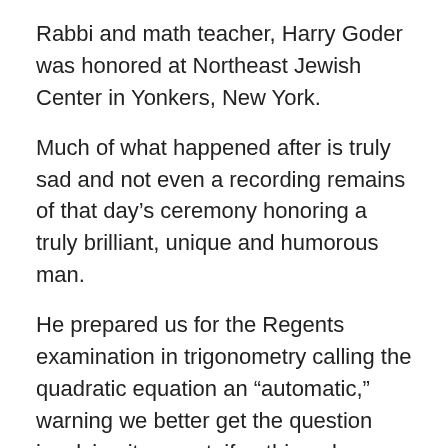Rabbi and math teacher, Harry Goder was honored at Northeast Jewish Center in Yonkers, New York.
Much of what happened after is truly sad and not even a recording remains of that day’s ceremony honoring a truly brilliant, unique and humorous man.
He prepared us for the Regents examination in trigonometry calling the quadratic equation an “automatic,” warning we better get the question involving it correct, if nothing else.
Additionally, his “regular” exams often were actual old regents exams, perhaps from the 1930’s. The class did not react well to this.
Mr. Goder (Mr. Goder in high school, Rabbi Goder in Hebrew School, I was fortunate to have been taught and